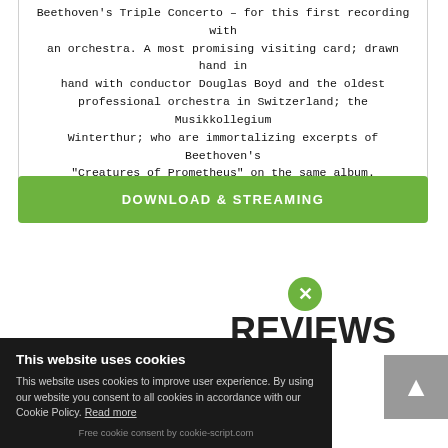Beethoven's Triple Concerto – for this first recording with an orchestra. A most promising visiting card; drawn hand in hand with conductor Douglas Boyd and the oldest professional orchestra in Switzerland; the Musikkollegium Winterthur; who are immortalizing excerpts of Beethoven's "Creatures of Prometheus" on the same album.
DOWNLOAD & STREAMING
REVIEWS
This website uses cookies
This website uses cookies to improve user experience. By using our website you consent to all cookies in accordance with our Cookie Policy. Read more
Free cookie consent by cookie-script.com